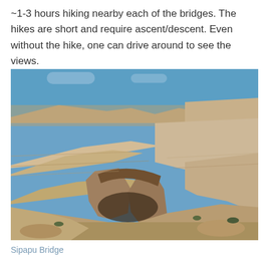~1-3 hours hiking nearby each of the bridges. The hikes are short and require ascent/descent. Even without the hike, one can drive around to see the views.
[Figure (photo): Photograph of Sipapu Bridge, a natural sandstone arch bridge in a canyon landscape with layered reddish-tan rock formations under a blue sky.]
Sipapu Bridge